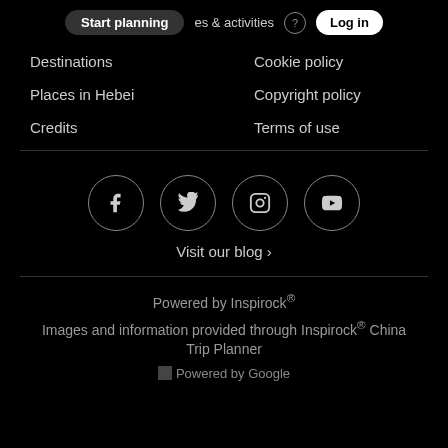Start planning  places & activities  Log in
Destinations
Cookie policy
Places in Hebei
Copyright policy
Credits
Terms of use
[Figure (other): Social media icons in circles: Facebook, Twitter, Instagram, YouTube]
Visit our blog ›
Powered by Inspirock®
Images and information provided through Inspirock® China Trip Planner
Powered by Google